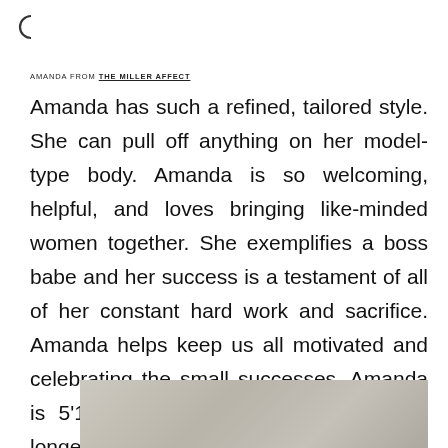[Figure (logo): Circular logo mark in top left corner]
AMANDA FROM THE MILLER AFFECT
Amanda has such a refined, tailored style. She can pull off anything on her model-type body. Amanda is so welcoming, helpful, and loves bringing like-minded women together. She exemplifies a boss babe and her success is a testament of all of her constant hard work and sacrifice. Amanda helps keep us all motivated and celebrating the small successes. Amanda is 5'11" so this dress might be a little longer on most of you.
[Figure (photo): Partial photo visible at bottom of page, light tones, appears to be fashion/clothing related]